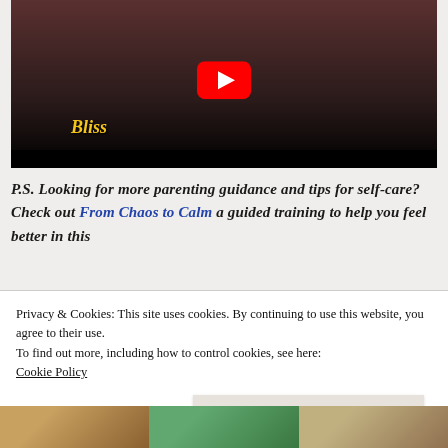[Figure (screenshot): YouTube video thumbnail showing a scene with text 'Bliss' in yellow italic font, a YouTube play button in the center, and a black bar at the bottom]
P.S. Looking for more parenting guidance and tips for self-care? Check out From Chaos to Calm a guided training to help you feel better in this
Privacy & Cookies: This site uses cookies. By continuing to use this website, you agree to their use.
To find out more, including how to control cookies, see here:
Cookie Policy
Close and accept
[Figure (photo): Three partial thumbnail images at the bottom of the page]